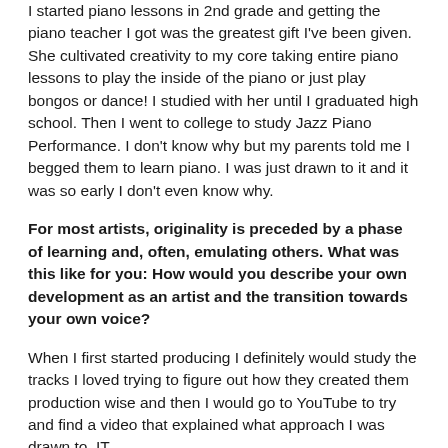I started piano lessons in 2nd grade and getting the piano teacher I got was the greatest gift I've been given. She cultivated creativity to my core taking entire piano lessons to play the inside of the piano or just play bongos or dance! I studied with her until I graduated high school. Then I went to college to study Jazz Piano Performance. I don't know why but my parents told me I begged them to learn piano. I was just drawn to it and it was so early I don't even know why.
For most artists, originality is preceded by a phase of learning and, often, emulating others. What was this like for you: How would you describe your own development as an artist and the transition towards your own voice?
When I first started producing I definitely would study the tracks I loved trying to figure out how they created them production wise and then I would go to YouTube to try and find a video that explained what approach I was drawn to. IT